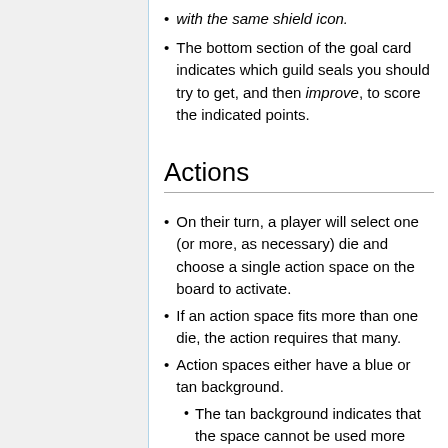with the same shield icon.
The bottom section of the goal card indicates which guild seals you should try to get, and then improve, to score the indicated points.
Actions
On their turn, a player will select one (or more, as necessary) die and choose a single action space on the board to activate.
If an action space fits more than one die, the action requires that many.
Action spaces either have a blue or tan background.
The tan background indicates that the space cannot be used more than once per round -- once